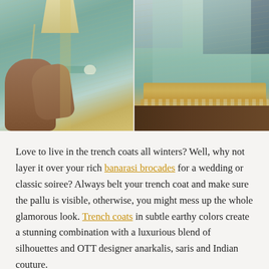[Figure (photo): Two side-by-side photos of Indian fashion: left shows close-up of a teal/mint banarasi brocade trench coat with gold detailing worn by a person; right shows a full-length view of the same outfit — a flowing mint-green anarkali/sari with gold border hem.]
Love to live in the trench coats all winters? Well, why not layer it over your rich banarasi brocades for a wedding or classic soiree? Always belt your trench coat and make sure the pallu is visible, otherwise, you might mess up the whole glamorous look. Trench coats in subtle earthy colors create a stunning combination with a luxurious blend of silhouettes and OTT designer anarkalis, saris and Indian couture.